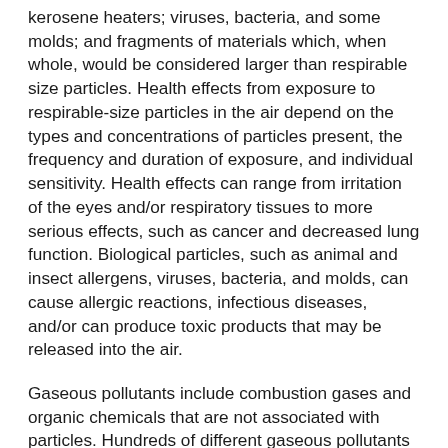kerosene heaters; viruses, bacteria, and some molds; and fragments of materials which, when whole, would be considered larger than respirable size particles. Health effects from exposure to respirable-size particles in the air depend on the types and concentrations of particles present, the frequency and duration of exposure, and individual sensitivity. Health effects can range from irritation of the eyes and/or respiratory tissues to more serious effects, such as cancer and decreased lung function. Biological particles, such as animal and insect allergens, viruses, bacteria, and molds, can cause allergic reactions, infectious diseases, and/or can produce toxic products that may be released into the air.
Gaseous pollutants include combustion gases and organic chemicals that are not associated with particles. Hundreds of different gaseous pollutants have been detected in indoor air.
Sources of combustion gases (such as carbon monoxide and nitrogen dioxide) include combustion appliances, cigarette smoking, and the infiltration of